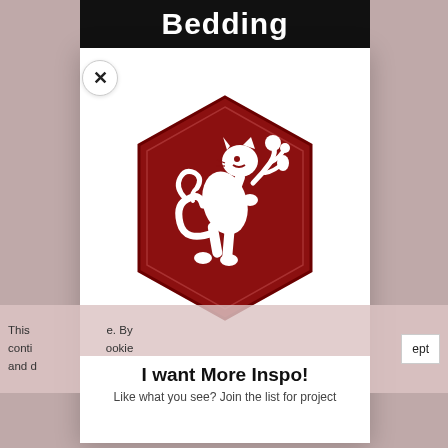Bedding
[Figure (logo): Dark red hexagonal badge/crest logo with a white heraldic rampant lion holding a floral branch, set on a white background inside a popup modal]
This ... e. By conti... ookie and d...
I want More Inspo!
Like what you see? Join the list for project